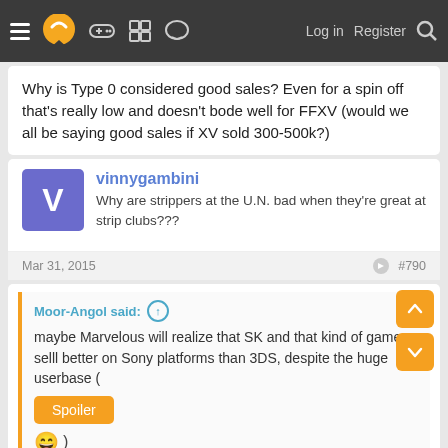Navigation bar with hamburger menu, logo, icons, Log in, Register, Search
Why is Type 0 considered good sales? Even for a spin off that's really low and doesn't bode well for FFXV (would we all be saying good sales if XV sold 300-500k?)
vinnygambini
Why are strippers at the U.N. bad when they're great at strip clubs???
Mar 31, 2015    #790
Moor-Angol said:
maybe Marvelous will realize that SK and that kind of games selll better on Sony platforms than 3DS, despite the huge userbase (
Spoiler
😄 )